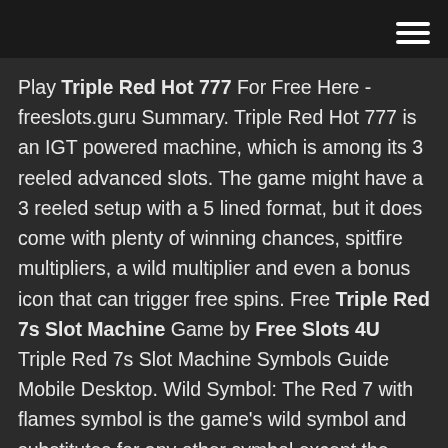[hamburger menu icon]
Play Triple Red Hot 777 For Free Here - freeslots.guru Summary. Triple Red Hot 777 is an IGT powered machine, which is among its 3 reeled advanced slots. The game might have a 3 reeled setup with a 5 lined format, but it does come with plenty of winning chances, spitfire multipliers, a wild multiplier and even a bonus icon that can trigger free spins. Free Triple Red 7s Slot Machine Game by Free Slots 4U Triple Red 7s Slot Machine Symbols Guide Mobile Desktop. Wild Symbol: The Red 7 with flames symbol is the game's wild symbol and substitutes for any other symbol except the scatter symbols to create a win. Scatter Symbol: Triple Red 7s has one scatter symbols which is the red 7 inside a horseshoe and the word lucky at the bottom. Getting 4 or more of these symbols anywhere on the reels